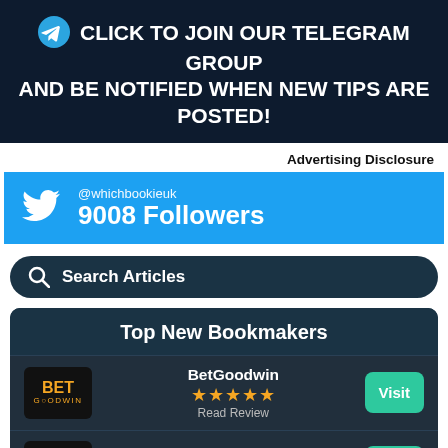CLICK TO JOIN OUR TELEGRAM GROUP AND BE NOTIFIED WHEN NEW TIPS ARE POSTED!
Advertising Disclosure
[Figure (infographic): Twitter widget showing @whichbookieuk with 9008 Followers on a light blue background]
[Figure (infographic): Search Articles bar with magnifying glass icon on dark teal rounded background]
Top New Bookmakers
[Figure (infographic): BetGoodwin bookmaker row with logo, 5 stars, Read Review text, and Visit button]
[Figure (infographic): BetZone bookmaker row with logo, stars, and Visit button]